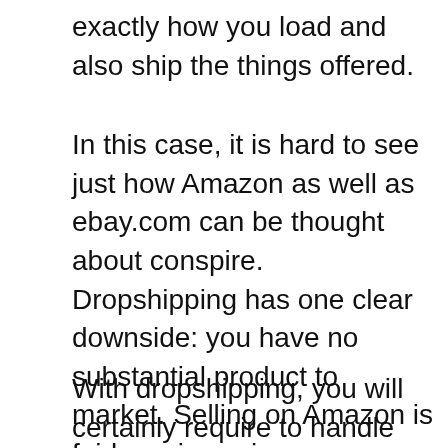exactly how you load and also ship the things offered.
In this case, it is hard to see just how Amazon as well as ebay.com can be thought about conspire. Dropshipping has one clear downside: you have no substantial product to market. Selling on Amazon is fairly various since you are marketing an actual item. When you come to be an affiliate, you will certainly access to countless items that are noted and ready to be marketed.
With dropshipping, you will certainly require to handle your stock. Amazon does all the job. You will certainly still require to make sure that your customers obtain the goods that they bought. You can also take